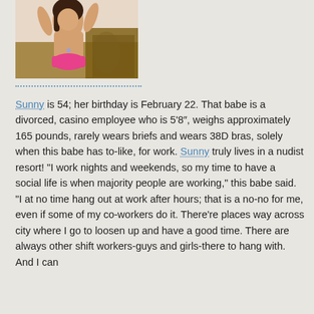[Figure (photo): A woman in a pink bikini bottom posing in front of what appears to be a couch or chair]
Sunny is 54; her birthday is February 22. That babe is a divorced, casino employee who is 5'8", weighs approximately 165 pounds, rarely wears briefs and wears 38D bras, solely when this babe has to-like, for work. Sunny truly lives in a nudist resort! "I work nights and weekends, so my time to have a social life is when majority people are working," this babe said. "I at no time hang out at work after hours; that is a no-no for me, even if some of my co-workers do it. There're places way across city where I go to loosen up and have a good time. There are always other shift workers-guys and girls-there to hang with. And I can